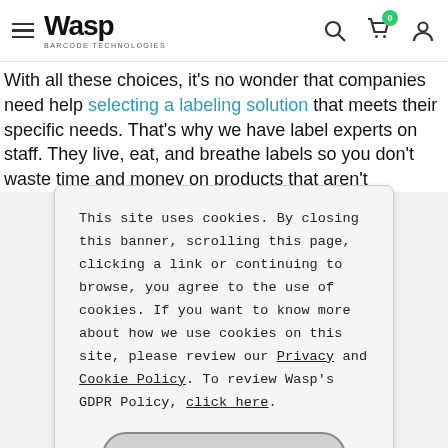Wasp Barcode Technologies — Navigation header with logo, search, cart (0), and user icon
With all these choices, it's no wonder that companies need help selecting a labeling solution that meets their specific needs. That's why we have label experts on staff. They live, eat, and breathe labels so you don't waste time and money on products that aren't
This site uses cookies. By closing this banner, scrolling this page, clicking a link or continuing to browse, you agree to the use of cookies. If you want to know more about how we use cookies on this site, please review our Privacy and Cookie Policy. To review Wasp's GDPR Policy, click here.